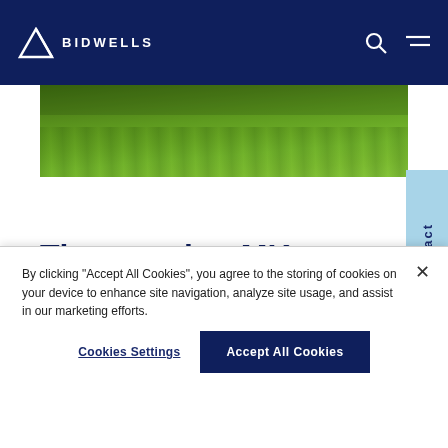BIDWELLS
[Figure (photo): Aerial or ground-level view of a green grass field]
The ongoing MK Futures
By clicking "Accept All Cookies", you agree to the storing of cookies on your device to enhance site navigation, analyze site usage, and assist in our marketing efforts.